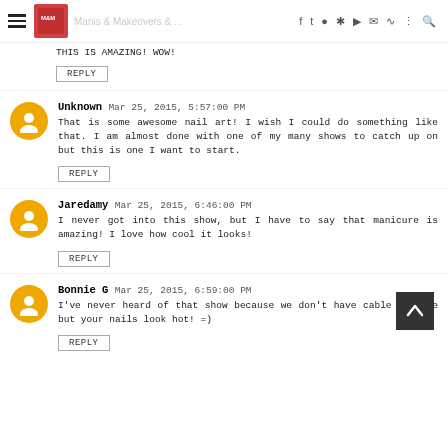Manis & Makeovers [navigation icons]
THIS IS AMAZING! WOW!
REPLY
Unknown  Mar 25, 2015, 5:57:00 PM
That is some awesome nail art! I wish I could do something like that. I am almost done with one of my many shows to catch up on but this is one I want to start.
REPLY
Jaredamy  Mar 25, 2015, 6:46:00 PM
I never got into this show, but I have to say that manicure is amazing! I love how cool it looks!
REPLY
Bonnie G  Mar 25, 2015, 6:59:00 PM
I've never heard of that show because we don't have cable anymore but your nails look hot! =)
REPLY